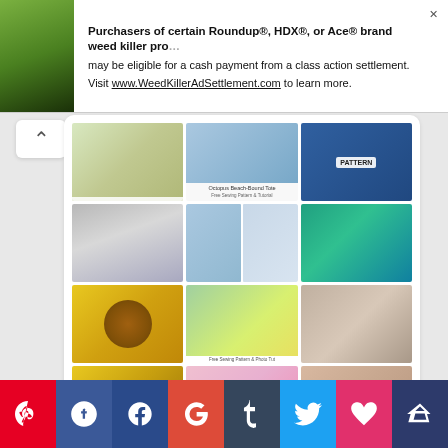[Figure (screenshot): Advertisement banner for Roundup/HDX/Ace weed killer class action settlement. Text: Purchasers of certain Roundup®, HDX®, or Ace® brand weed killer products may be eligible for a cash payment from a class action settlement. Visit www.WeedKillerAdSettlement.com to learn more.]
[Figure (screenshot): Pinterest widget showing a grid of crafting and sewing images including crocheted sharks, octopus beach bag pattern, colorblock sweater pattern, sunflower keychain, fabric purse, crocheted headband, and other sewing/craft items. Below the grid is a Follow On Pinterest button.]
[Figure (infographic): Social sharing bar at the bottom with icons for Pinterest, Facebook Like, Facebook, Google+, Tumblr, Twitter, Heart, and Crown in colored blocks.]